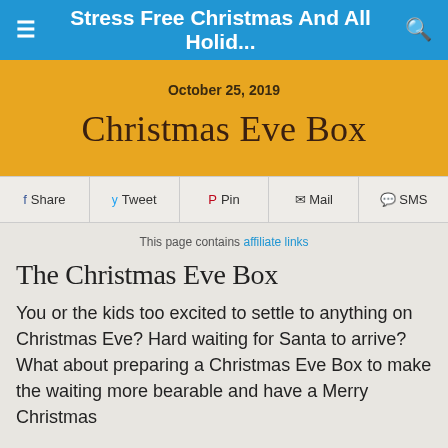Stress Free Christmas And All Holid...
October 25, 2019
Christmas Eve Box
Share  Tweet  Pin  Mail  SMS
This page contains affiliate links
The Christmas Eve Box
You or the kids too excited to settle to anything on Christmas Eve? Hard waiting for Santa to arrive? What about preparing a Christmas Eve Box to make the waiting more bearable and have a Merry Christmas